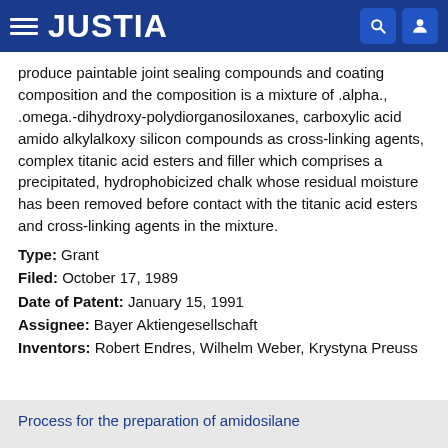JUSTIA
produce paintable joint sealing compounds and coating composition and the composition is a mixture of .alpha., .omega.-dihydroxy-polydiorganosiloxanes, carboxylic acid amido alkylalkoxy silicon compounds as cross-linking agents, complex titanic acid esters and filler which comprises a precipitated, hydrophobicized chalk whose residual moisture has been removed before contact with the titanic acid esters and cross-linking agents in the mixture.
Type: Grant
Filed: October 17, 1989
Date of Patent: January 15, 1991
Assignee: Bayer Aktiengesellschaft
Inventors: Robert Endres, Wilhelm Weber, Krystyna Preuss
Process for the preparation of amidosilane